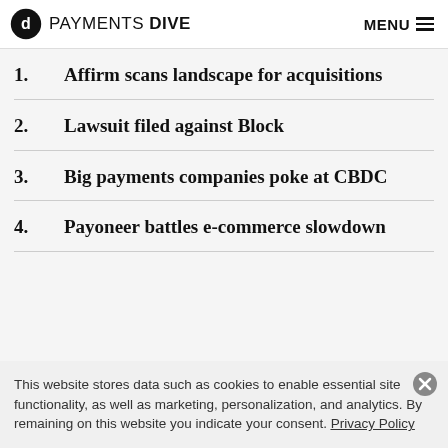PAYMENTS DIVE  MENU
1. Affirm scans landscape for acquisitions
2. Lawsuit filed against Block
3. Big payments companies poke at CBDC
4. Payoneer battles e-commerce slowdown
This website stores data such as cookies to enable essential site functionality, as well as marketing, personalization, and analytics. By remaining on this website you indicate your consent. Privacy Policy